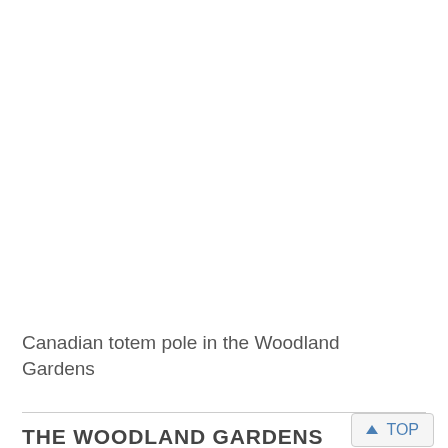[Figure (photo): White/blank image area representing a photo of a Canadian totem pole in the Woodland Gardens (image not visible in this crop)]
Canadian totem pole in the Woodland Gardens
THE WOODLAND GARDENS